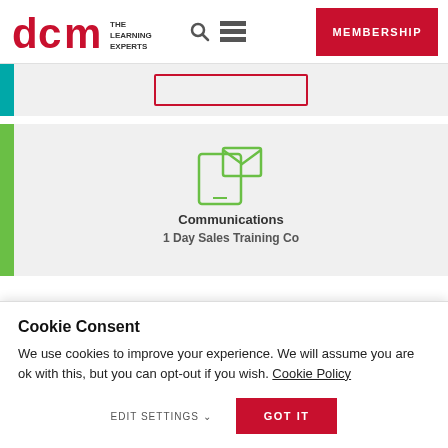DCM THE LEARNING EXPERTS | MEMBERSHIP
[Figure (screenshot): Partially visible card with teal left bar and red-bordered rectangle]
[Figure (illustration): Green left bar card with email/communications icon (phone with envelope) in green outline style]
Communications
1 Day Sales Training Co...
Cookie Consent
We use cookies to improve your experience. We will assume you are ok with this, but you can opt-out if you wish. Cookie Policy
EDIT SETTINGS ∨   GOT IT